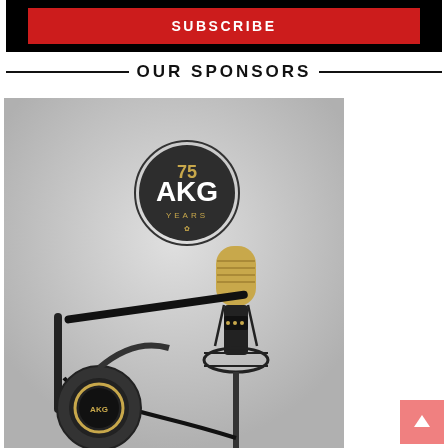[Figure (other): Black banner with red SUBSCRIBE button]
OUR SPONSORS
[Figure (photo): AKG 75 Years logo badge with microphone on mic stand and headphones on gray background]